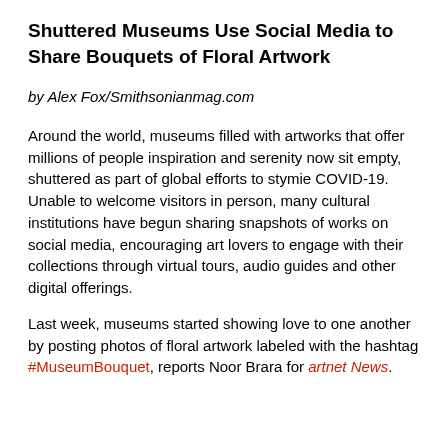Shuttered Museums Use Social Media to Share Bouquets of Floral Artwork
by Alex Fox/Smithsonianmag.com
Around the world, museums filled with artworks that offer millions of people inspiration and serenity now sit empty, shuttered as part of global efforts to stymie COVID-19. Unable to welcome visitors in person, many cultural institutions have begun sharing snapshots of works on social media, encouraging art lovers to engage with their collections through virtual tours, audio guides and other digital offerings.
Last week, museums started showing love to one another by posting photos of floral artwork labeled with the hashtag #MuseumBouquet, reports Noor Brara for artnet News.